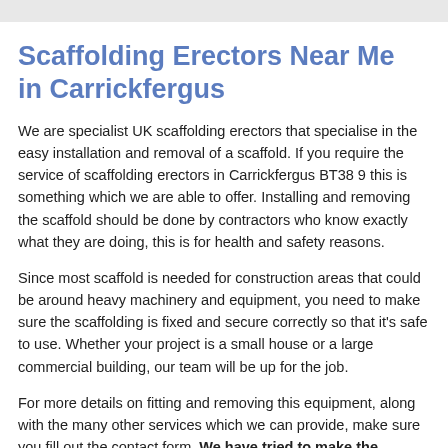Scaffolding Erectors Near Me in Carrickfergus
We are specialist UK scaffolding erectors that specialise in the easy installation and removal of a scaffold. If you require the service of scaffolding erectors in Carrickfergus BT38 9 this is something which we are able to offer. Installing and removing the scaffold should be done by contractors who know exactly what they are doing, this is for health and safety reasons.
Since most scaffold is needed for construction areas that could be around heavy machinery and equipment, you need to make sure the scaffolding is fixed and secure correctly so that it's safe to use. Whether your project is a small house or a large commercial building, our team will be up for the job.
For more details on fitting and removing this equipment, along with the many other services which we can provide, make sure you fill out the contact form. We have tried to make the enquiry process